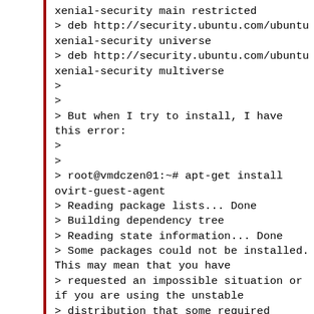xenial-security main restricted
> deb http://security.ubuntu.com/ubuntu xenial-security universe
> deb http://security.ubuntu.com/ubuntu xenial-security multiverse
>
>
> But when I try to install, I have this error:
>
>
> root@vmdczen01:~# apt-get install ovirt-guest-agent
> Reading package lists... Done
> Building dependency tree
> Reading state information... Done
> Some packages could not be installed. This may mean that you have
> requested an impossible situation or if you are using the unstable
> distribution that some required packages have not yet been created
> or been moved out of Incoming.